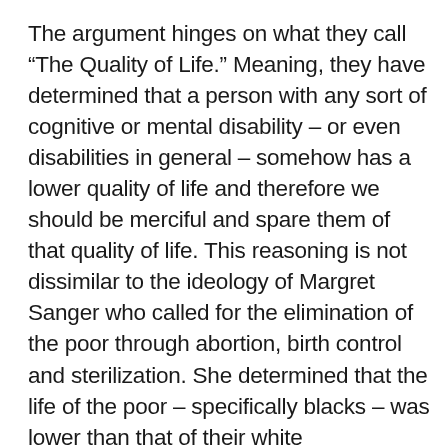The argument hinges on what they call “The Quality of Life.” Meaning, they have determined that a person with any sort of cognitive or mental disability – or even disabilities in general – somehow has a lower quality of life and therefore we should be merciful and spare them of that quality of life. This reasoning is not dissimilar to the ideology of Margret Sanger who called for the elimination of the poor through abortion, birth control and sterilization. She determined that the life of the poor – specifically blacks – was lower than that of their white counterparts and should therefore be exterminated so they might be alleviated of their poverty by any means necessary. The initiated man will acknowledge how evil Sangers mindset is because it claims an entire people group are less than another and should be eliminated because of it. This kind of thinking should, in all forms be rejected, but it is being used